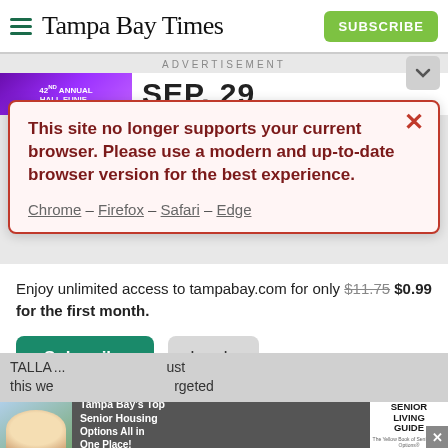Tampa Bay Times
ADVERTISEMENT
[Figure (screenshot): Advertisement banner showing '42ND ANNUAL' event and 'SEP. 29' date]
This site no longer supports your current browser. Please use a modern and up-to-date browser version for the best experience.
Chrome – Firefox – Safari – Edge
Enjoy unlimited access to tampabay.com for only $11.75 $0.99 for the first month.
Subscribe
Log In
Interested in print delivery? Subscribe here →
TALLA
[Figure (screenshot): Bottom advertisement: Tampa Bay's Top Senior Housing Options All in One Place! Senior Living Guide]